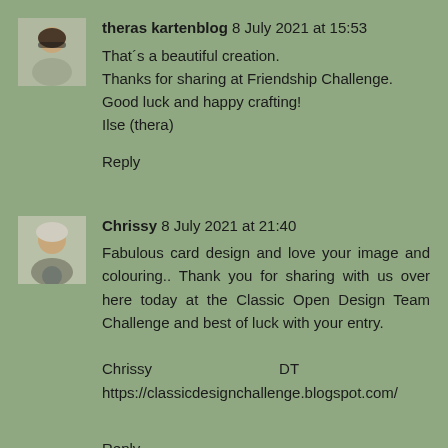[Figure (photo): Small avatar photo of a woman with sunglasses, outdoors]
theras kartenblog 8 July 2021 at 15:53
That´s a beautiful creation.
Thanks for sharing at Friendship Challenge.
Good luck and happy crafting!
Ilse (thera)
Reply
[Figure (photo): Small avatar photo of an older woman, outdoors]
Chrissy 8 July 2021 at 21:40
Fabulous card design and love your image and colouring.. Thank you for sharing with us over here today at the Classic Open Design Team Challenge and best of luck with your entry.

Chrissy DT  https://classicdesignchallenge.blogspot.com/
Reply